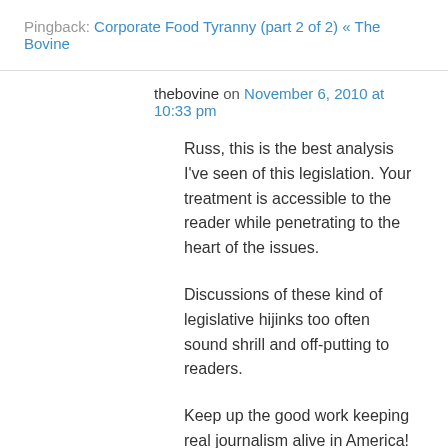Pingback: Corporate Food Tyranny (part 2 of 2) « The Bovine
thebovine on November 6, 2010 at 10:33 pm
Russ, this is the best analysis I've seen of this legislation. Your treatment is accessible to the reader while penetrating to the heart of the issues.
Discussions of these kind of legislative hijinks too often sound shrill and off-putting to readers.
Keep up the good work keeping real journalism alive in America!
Hope it's ok with you that we excerpted sections of your posts for readers on the Bovine blog;